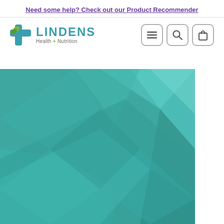Need some help? Check out our Product Recommender
[Figure (logo): Lindens Health + Nutrition logo with teal cross and green leaf icon]
[Figure (infographic): Teal geometric polygon background hero image with triangular facets in various teal/turquoise shades]